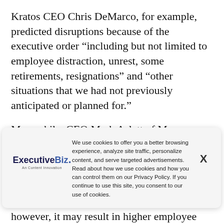Kratos CEO Chris DeMarco, for example, predicted disruptions because of the executive order “including but not limited to employee distraction, unrest, some retirements, resignations” and “other situations that we had not previously anticipated or planned for.”
Meanwhile, CEO Mark Aslett of Mercury Systems
[Figure (other): Cookie consent modal overlay from ExecutiveBiz website. Contains the ExecutiveBiz logo on the left, a cookie policy notice in the center, and an X close button on the right.]
however, it may result in higher employee